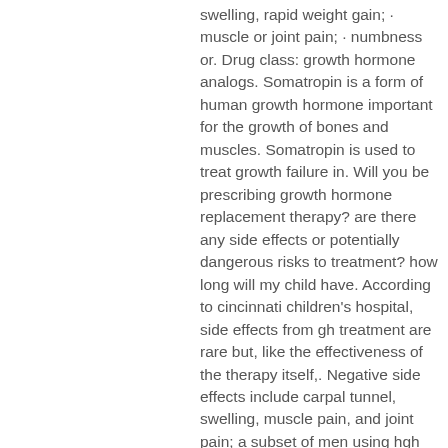swelling, rapid weight gain; · muscle or joint pain; · numbness or. Drug class: growth hormone analogs. Somatropin is a form of human growth hormone important for the growth of bones and muscles. Somatropin is used to treat growth failure in. Will you be prescribing growth hormone replacement therapy? are there any side effects or potentially dangerous risks to treatment? how long will my child have. According to cincinnati children's hospital, side effects from gh treatment are rare but, like the effectiveness of the therapy itself,. Negative side effects include carpal tunnel, swelling, muscle pain, and joint pain; a subset of men using hgh even develop breasts. The incorrect use of hgh can result in serious side effects like acromegaly, diabetes and carpal tunnel syndrome. To lower the risk of developing these. It does not include all information about conditions, treatments,